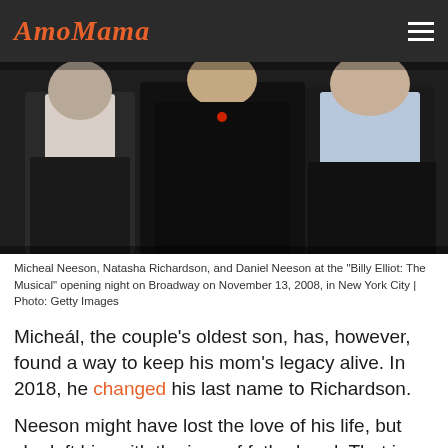AmoMama
[Figure (photo): Micheal Neeson, Natasha Richardson, and Daniel Neeson at the Billy Elliot: The Musical opening night on Broadway, November 13 2008, in New York City. Three people in formal attire, two young men flanking a woman in the center.]
Micheal Neeson, Natasha Richardson, and Daniel Neeson at the "Billy Elliot: The Musical" opening night on Broadway on November 13, 2008, in New York City | Photo: Getty Images
Micheál, the couple's oldest son, has, however, found a way to keep his mom's legacy alive. In 2018, he changed his last name to Richardson.
Neeson might have lost the love of his life, but she left him with the joys of fatherhood. That in itself is enough